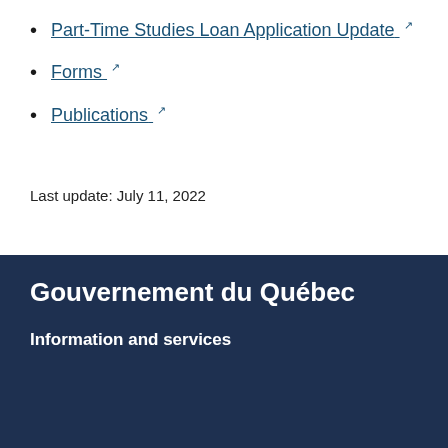Part-Time Studies Loan Application Update [external link]
Forms [external link]
Publications [external link]
Last update: July 11, 2022
Gouvernement du Québec
Information and services